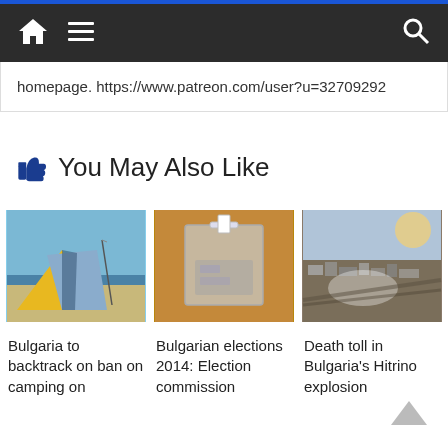Navigation bar with home, menu, and search icons
homepage. https://www.patreon.com/user?u=32709292
You May Also Like
[Figure (photo): Tent on a beach with blue water in background]
[Figure (photo): Clear ballot box on a table during Bulgarian elections 2014]
[Figure (photo): Aerial view of damaged town in Bulgaria - Hitrino explosion]
Bulgaria to backtrack on ban on camping on
Bulgarian elections 2014: Election commission
Death toll in Bulgaria's Hitrino explosion